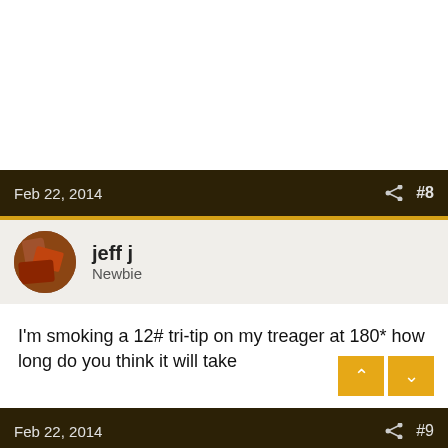Feb 22, 2014  #8
jeff j
Newbie
I'm smoking a 12# tri-tip on my treager at 180* how long do you think it will take
Feb 22, 2014  #9
[Figure (screenshot): Advertisement banner: Walgreens ad - Get Health & Safety Essentials Before They Sell Out.]